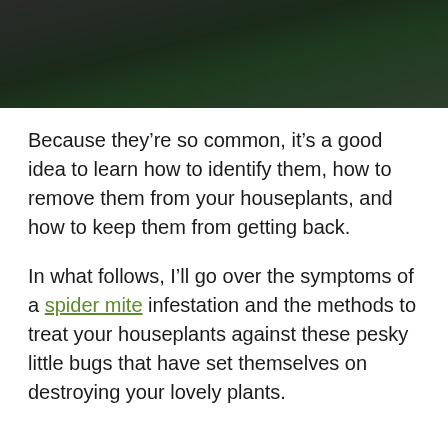[Figure (photo): Dark blurred photo of a plant with dark green and near-black tones]
Because they're so common, it's a good idea to learn how to identify them, how to remove them from your houseplants, and how to keep them from getting back.
In what follows, I'll go over the symptoms of a spider mite infestation and the methods to treat your houseplants against these pesky little bugs that have set themselves on destroying your lovely plants.